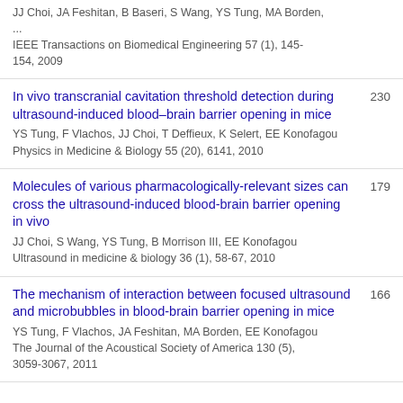JJ Choi, JA Feshitan, B Baseri, S Wang, YS Tung, MA Borden, ...
IEEE Transactions on Biomedical Engineering 57 (1), 145-154, 2009
In vivo transcranial cavitation threshold detection during ultrasound-induced blood–brain barrier opening in mice
YS Tung, F Vlachos, JJ Choi, T Deffieux, K Selert, EE Konofagou
Physics in Medicine & Biology 55 (20), 6141, 2010
230
Molecules of various pharmacologically-relevant sizes can cross the ultrasound-induced blood-brain barrier opening in vivo
JJ Choi, S Wang, YS Tung, B Morrison III, EE Konofagou
Ultrasound in medicine & biology 36 (1), 58-67, 2010
179
The mechanism of interaction between focused ultrasound and microbubbles in blood-brain barrier opening in mice
YS Tung, F Vlachos, JA Feshitan, MA Borden, EE Konofagou
The Journal of the Acoustical Society of America 130 (5), 3059-3067, 2011
166